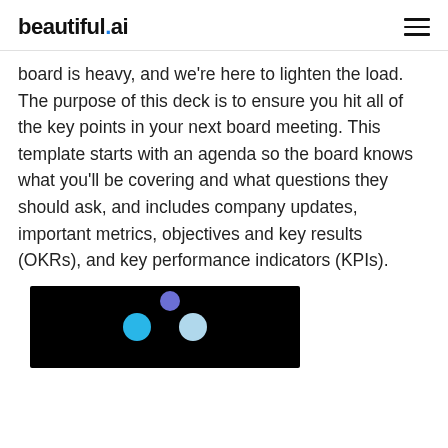beautiful.ai
board is heavy, and we're here to lighten the load. The purpose of this deck is to ensure you hit all of the key points in your next board meeting. This template starts with an agenda so the board knows what you'll be covering and what questions they should ask, and includes company updates, important metrics, objectives and key results (OKRs), and key performance indicators (KPIs).
[Figure (screenshot): Black background preview image with colorful dots (blue, light blue, purple) representing a slide deck thumbnail]